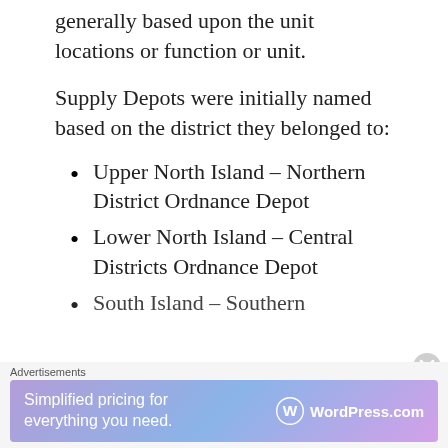generally based upon the unit locations or function or unit.
Supply Depots were initially named based on the district they belonged to:
Upper North Island – Northern District Ordnance Depot
Lower North Island – Central Districts Ordnance Depot
South Island – Southern…
Advertisements
Simplified pricing for everything you need. WordPress.com